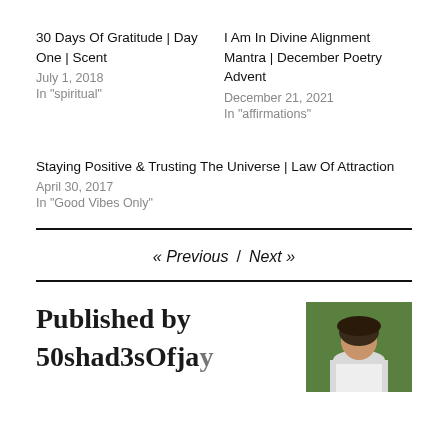30 Days Of Gratitude | Day One | Scent
July 1, 2018
In "spiritual"
I Am In Divine Alignment Mantra | December Poetry Advent
December 21, 2021
In "affirmations"
Staying Positive & Trusting The Universe | Law Of Attraction
April 30, 2017
In "Good Vibes Only"
« Previous / Next »
Published by
50shad3sOfja...